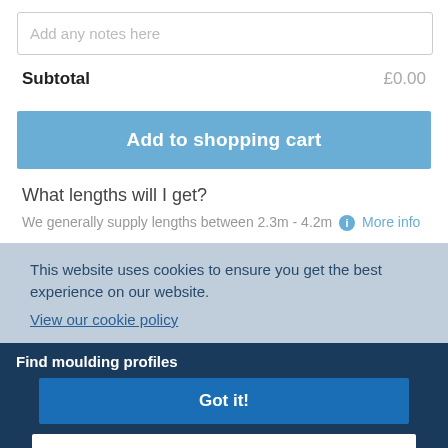Add any notes here
Subtotal £0.00
Add to shopping cart
What lengths will I get?
We generally supply lengths between 2.3m - 4.2m ℹ More info
This website uses cookies to ensure you get the best experience on our website. View our cookie policy
Find moulding profiles
Got it!
- Browse categories -